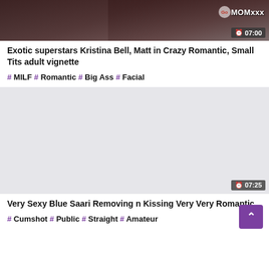[Figure (screenshot): Video thumbnail showing partial image of two people, with MOMxxx watermark and 07:00 duration badge]
Exotic superstars Kristina Bell, Matt in Crazy Romantic, Small Tits adult vignette
#MILF #Romantic #Big Ass #Facial
[Figure (screenshot): Video thumbnail placeholder (gray background) with 07:25 duration badge]
Very Sexy Blue Saari Removing n Kissing Very Very Romantic
#Cumshot #Public #Straight #Amateur